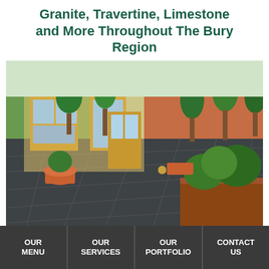Granite, Travertine, Limestone and More Throughout The Bury Region
[Figure (photo): Outdoor patio with large dark slate/stone tiles, surrounded by terracotta planters with topiary trees and shrubs, adjacent to a red brick house with wooden-framed windows and doors.]
OUR MENU | OUR SERVICES | OUR PORTFOLIO | CONTACT US